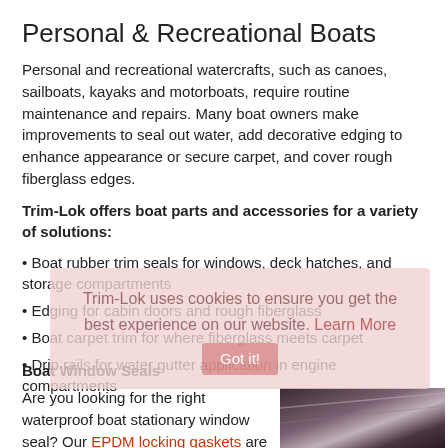Personal & Recreational Boats
Personal and recreational watercrafts, such as canoes, sailboats, kayaks and motorboats, require routine maintenance and repairs. Many boat owners make improvements to seal out water, add decorative edging to enhance appearance or secure carpet, and cover rough fiberglass edges.
Trim-Lok offers boat parts and accessories for a variety of solutions:
Boat rubber trim seals for windows, deck hatches, and storage compartments
Edging for cabin doors and rough fiberglass
Boat carpet trim for where fiberglass meets carpet
Drip rails for water gutter application in engine compartments
Boat Window Seals
Are you looking for the right waterproof boat stationary window seal? Our EPDM locking gaskets are designed to resist
[Figure (photo): Close-up photo of a dark-colored boat trim/seal strip at an angle]